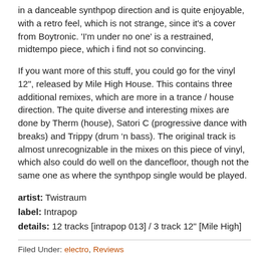in a danceable synthpop direction and is quite enjoyable, with a retro feel, which is not strange, since it's a cover from Boytronic. 'I'm under no one' is a restrained, midtempo piece, which i find not so convincing.
If you want more of this stuff, you could go for the vinyl 12", released by Mile High House. This contains three additional remixes, which are more in a trance / house direction. The quite diverse and interesting mixes are done by Therm (house), Satori C (progressive dance with breaks) and Trippy (drum 'n bass). The original track is almost unrecognizable in the mixes on this piece of vinyl, which also could do well on the dancefloor, though not the same one as where the synthpop single would be played.
artist: Twistraum
label: Intrapop
details: 12 tracks [intrapop 013] / 3 track 12" [Mile High]
Filed Under: electro, Reviews